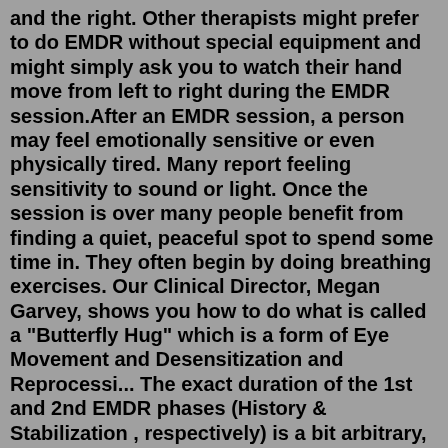and the right. Other therapists might prefer to do EMDR without special equipment and might simply ask you to watch their hand move from left to right during the EMDR session.After an EMDR session, a person may feel emotionally sensitive or even physically tired. Many report feeling sensitivity to sound or light. Once the session is over many people benefit from finding a quiet, peaceful spot to spend some time in. They often begin by doing breathing exercises. Our Clinical Director, Megan Garvey, shows you how to do what is called a "Butterfly Hug" which is a form of Eye Movement and Desensitization and Reprocessi... The exact duration of the 1st and 2nd EMDR phases (History & Stabilization , respectively) is a bit arbitrary, which means it depends on the each different client, the trauma they are there to process (the more severe or intense the trauma, the longer the Stabilization Phase should be, so that the person can become as resilient and stabilized ...It is believed that EMDR works because the "bilateral stimulation" by means the eyes of the